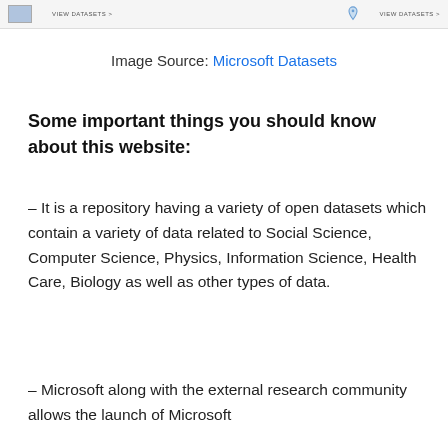[Figure (screenshot): Partial screenshot of Microsoft Datasets webpage showing dataset icons and 'VIEW DATASETS' links]
Image Source: Microsoft Datasets
Some important things you should know about this website:
– It is a repository having a variety of open datasets which contain a variety of data related to Social Science, Computer Science, Physics, Information Science, Health Care, Biology as well as other types of data.
– Microsoft along with the external research community allows the launch of Microsoft